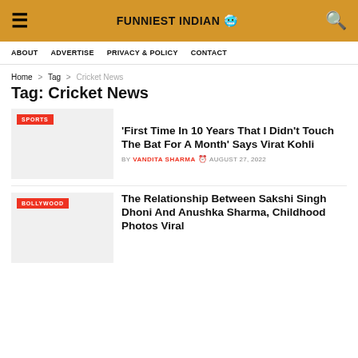FUNNIEST INDIAN
ABOUT   ADVERTISE   PRIVACY & POLICY   CONTACT
Home > Tag > Cricket News
Tag: Cricket News
[Figure (other): Article thumbnail with SPORTS badge]
'First Time In 10 Years That I Didn't Touch The Bat For A Month' Says Virat Kohli
BY VANDITA SHARMA  AUGUST 27, 2022
[Figure (other): Article thumbnail with BOLLYWOOD badge]
The Relationship Between Sakshi Singh Dhoni And Anushka Sharma, Childhood Photos Viral